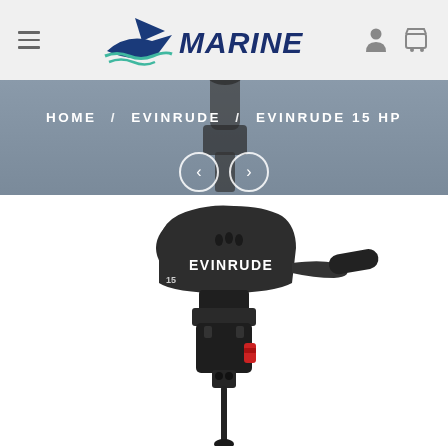[Figure (screenshot): Marine store website header with hamburger menu, Marine logo with boat icon, user and cart icons]
HOME / EVINRUDE / EVINRUDE 15 HP
[Figure (photo): Evinrude 15 HP outboard motor product photo on white background]